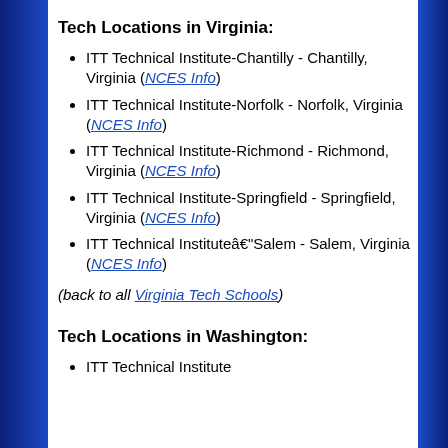Tech Locations in Virginia:
ITT Technical Institute-Chantilly - Chantilly, Virginia (NCES Info)
ITT Technical Institute-Norfolk - Norfolk, Virginia (NCES Info)
ITT Technical Institute-Richmond - Richmond, Virginia (NCES Info)
ITT Technical Institute-Springfield - Springfield, Virginia (NCES Info)
ITT Technical Institute–Salem - Salem, Virginia (NCES Info)
(back to all Virginia Tech Schools)
Tech Locations in Washington:
ITT Technical Institute